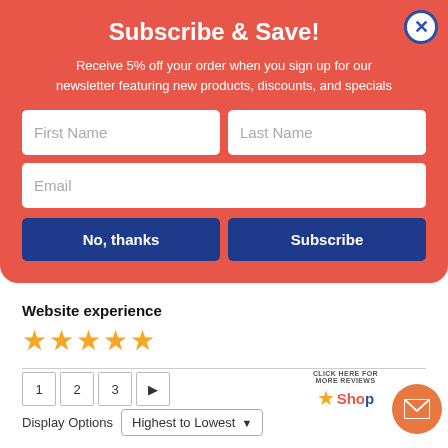Subscribe & Save!
Receive 5% off your order when you sign up for our newsletter featuring new products, discounts, and specials
First Name
Last Name
Email
No, thanks
Subscribe
Website experience
[Figure (other): 5 orange/gold star rating icons]
1  2  3  ▶
Display Options  Highest to Lowest ▼
[Figure (logo): CLICK HERE FOR MORE REVIEWS | ShopApproved logo with gold star]
[Figure (other): Orange email envelope floating action button]